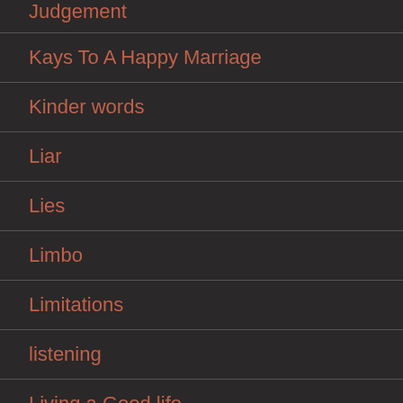Judgement
Kays To A Happy Marriage
Kinder words
Liar
Lies
Limbo
Limitations
listening
Living a Good life